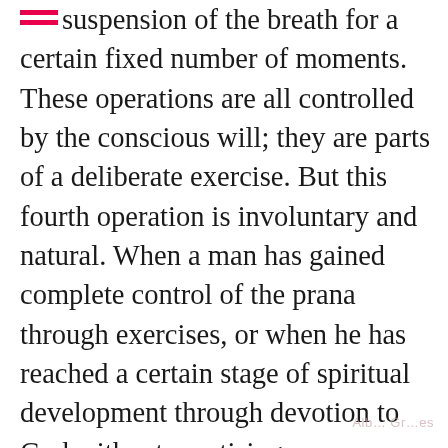suspension of the breath for a certain fixed number of moments. These operations are all controlled by the conscious will; they are parts of a deliberate exercise. But this fourth operation is involuntary and natural. When a man has gained complete control of the prana through exercises, or when he has reached a certain stage of spiritual development through devotion to God without practising pranayama, then his breathing may cease of its own accord at any time while he is deeply absorbed in concentration. This natural stoppage of the breath may continue for many seconds or minutes; he will not even be aware of it. In the state of samadhi, the breathing ceases altogether for hours at a time. This kind of suspension of the breath is not dangerous, because it can only take place when a man has sufficiently developed and is able to suppport it